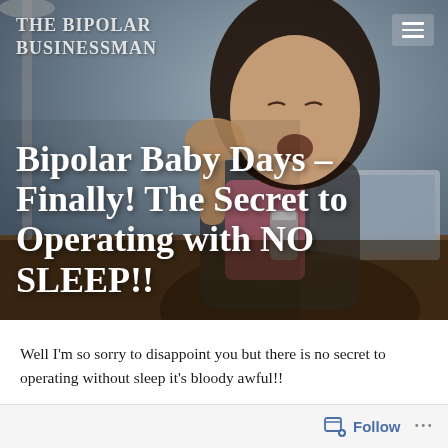[Figure (photo): Hero image of a tired woman yawning at a desk with a laptop, holding a drink can, head in hand, with lamp in background. Overlay text shows blog title.]
THE BIPOLAR BUSINESSMAN
Bipolar Baby Days – Finally! The Secret to Operating with NO SLEEP!!
Well I'm so sorry to disappoint you but there is no secret to operating without sleep it's bloody awful!!
Follow